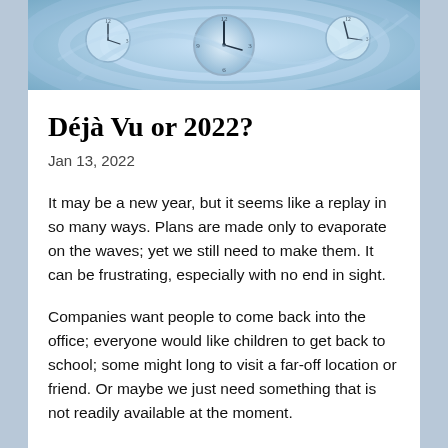[Figure (photo): Abstract swirling blue and white clock faces, suggesting time loops or déjà vu]
Déjà Vu or 2022?
Jan 13, 2022
It may be a new year, but it seems like a replay in so many ways. Plans are made only to evaporate on the waves; yet we still need to make them. It can be frustrating, especially with no end in sight.
Companies want people to come back into the office; everyone would like children to get back to school; some might long to visit a far-off location or friend. Or maybe we just need something that is not readily available at the moment.